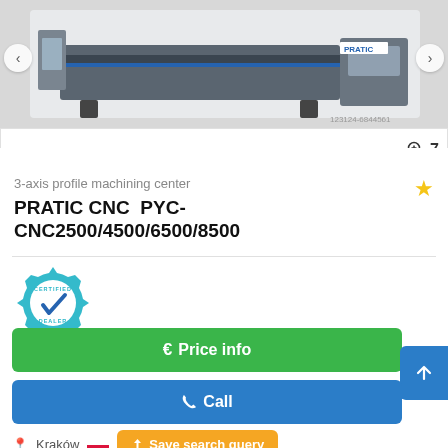[Figure (photo): PRATIC CNC profile machining center machine in gray/white/blue color, shown from the side in a product listing image. Navigation arrows on left and right. Image number 123124-6844561 at bottom right.]
7
3-axis profile machining center
PRATIC CNC  PYC-CNC2500/4500/6500/8500
[Figure (logo): Certified Dealer badge — teal gear with checkmark and text CERTIFIED DEALER]
€ Price info
✔ Call
📍 Kraków
Save search query